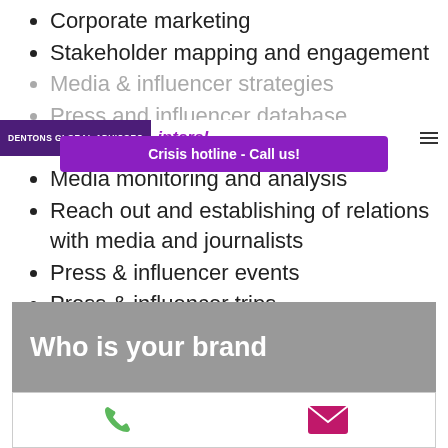Corporate marketing
Stakeholder mapping and engagement
Media & influencer strategies
Press and influencer database
Audit and strategy
Media monitoring and analysis
Reach out and establishing of relations with media and journalists
Press & influencer events
Press & influencer trips
DENTONS GLOBAL ADVISORS · interel · Crisis hotline - Call us!
Who is your brand